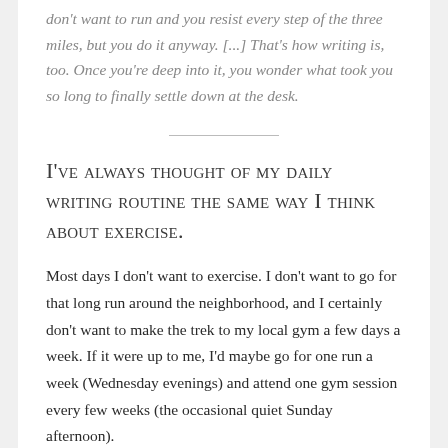don't want to run and you resist every step of the three miles, but you do it anyway. [...] That's how writing is, too. Once you're deep into it, you wonder what took you so long to finally settle down at the desk.
I've always thought of my daily writing routine the same way I think about exercise.
Most days I don't want to exercise. I don't want to go for that long run around the neighborhood, and I certainly don't want to make the trek to my local gym a few days a week. If it were up to me, I'd maybe go for one run a week (Wednesday evenings) and attend one gym session every few weeks (the occasional quiet Sunday afternoon).